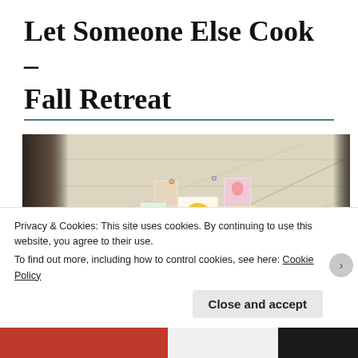Let Someone Else Cook – Fall Retreat
[Figure (photo): A wooden plank wall with colorful illustrated cards/artwork pinned to it, a person's dark silhouette and arm visible on the left reaching toward the cards.]
Privacy & Cookies: This site uses cookies. By continuing to use this website, you agree to their use.
To find out more, including how to control cookies, see here: Cookie Policy
Close and accept